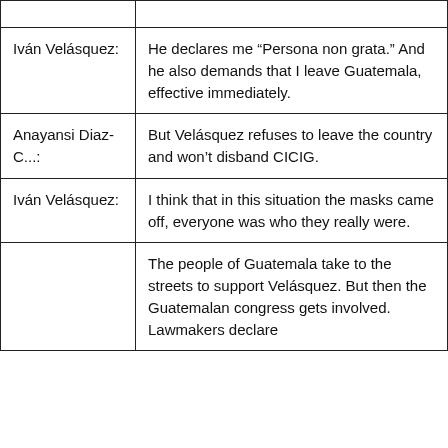| Speaker | Text |
| --- | --- |
|  |  |
| Iván Velásquez: | He declares me “Persona non grata.” And he also demands that I leave Guatemala, effective immediately. |
| Anayansi Diaz-C...: | But Velásquez refuses to leave the country and won’t disband CICIG. |
| Iván Velásquez: | I think that in this situation the masks came off, everyone was who they really were. |
|  | The people of Guatemala take to the streets to support Velásquez. But then the Guatemalan congress gets involved. Lawmakers declare |